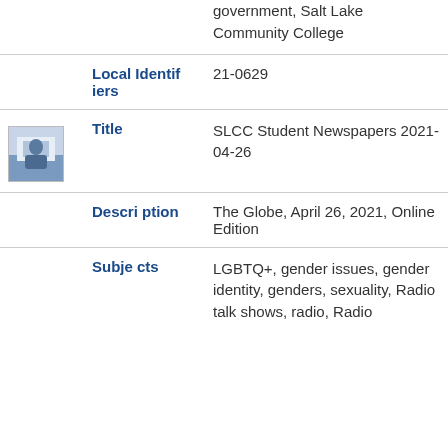|  | Field | Value |
| --- | --- | --- |
|  |  | government, Salt Lake Community College |
|  | Local Identifiers | 21-0629 |
| [thumbnail] | Title | SLCC Student Newspapers 2021-04-26 |
|  | Description | The Globe, April 26, 2021, Online Edition |
|  | Subjects | LGBTQ+, gender issues, gender identity, genders, sexuality, Radio talk shows, radio, Radio |